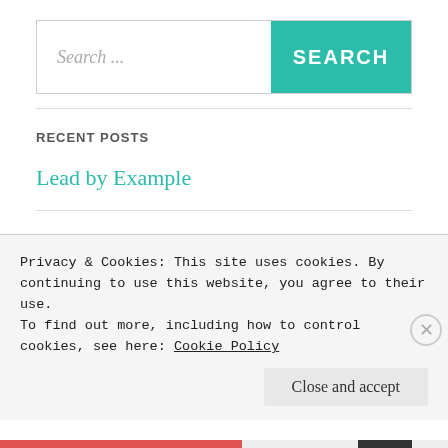[Figure (screenshot): Search bar with text input placeholder 'Search ...' and a teal SEARCH button on the right]
RECENT POSTS
Lead by Example
The Human Spirit
“Position Improvement”
Privacy & Cookies: This site uses cookies. By continuing to use this website, you agree to their use.
To find out more, including how to control cookies, see here: Cookie Policy
Close and accept